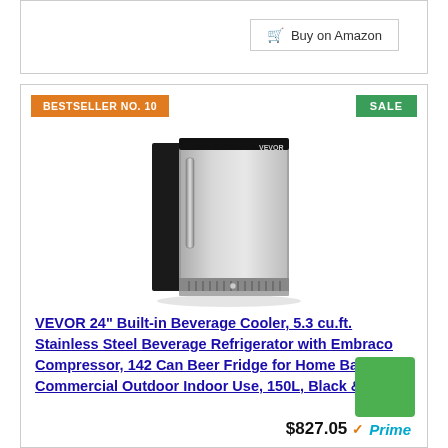Buy on Amazon
BESTSELLER NO. 10
SALE
[Figure (photo): VEVOR stainless steel built-in beverage cooler refrigerator with black sides and silver/stainless front door with handle, ventilation grille at bottom]
VEVOR 24" Built-in Beverage Cooler, 5.3 cu.ft. Stainless Steel Beverage Refrigerator with Embraco Compressor, 142 Can Beer Fridge for Home Bar Office Commercial Outdoor Indoor Use, 150L, Black & Silver
$827.05 ✓Prime